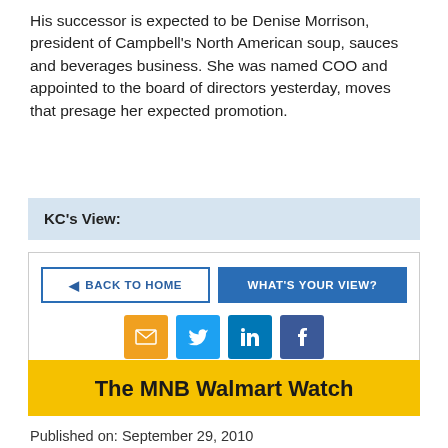His successor is expected to be Denise Morrison, president of Campbell's North American soup, sauces and beverages business. She was named COO and appointed to the board of directors yesterday, moves that presage her expected promotion.
KC's View:
[Figure (infographic): Navigation buttons: 'BACK TO HOME' (outlined blue button with arrow) and 'WHAT'S YOUR VIEW?' (solid blue button), plus social media icons for email (orange), Twitter (blue), LinkedIn (blue), Facebook (dark blue)]
The MNB Walmart Watch
Published on: September 29, 2010